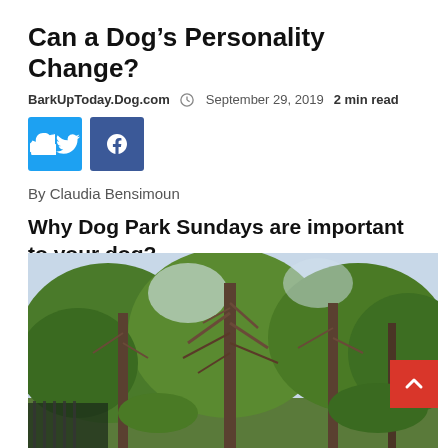Can a Dog’s Personality Change?
BarkUpToday.Dog.com  ○  September 29, 2019  2 min read
[Figure (other): Twitter and Facebook social share buttons]
By Claudia Bensimoun
Why Dog Park Sundays are important to your dog?
[Figure (photo): Outdoor photo of tall trees in a park setting with green foliage and bare branches against a bright sky. A red scroll-to-top button is visible in the lower right corner.]